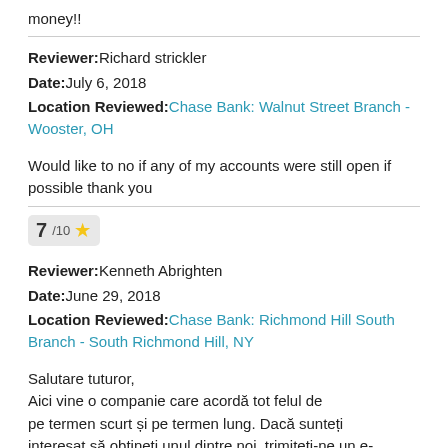money!!
Reviewer: Richard strickler
Date: July 6, 2018
Location Reviewed: Chase Bank: Walnut Street Branch - Wooster, OH
Would like to no if any of my accounts were still open if possible thank you
7/10 ★
Reviewer: Kenneth Abrighten
Date: June 29, 2018
Location Reviewed: Chase Bank: Richmond Hill South Branch - South Richmond Hill, NY
Salutare tuturor,
Aici vine o companie care acordă tot felul de pe termen scurt și pe termen lung. Dacă sunteți interesat să obțineți unul dintre noi, trimiteți-ne un e-mail pentru cererea dvs. prin: